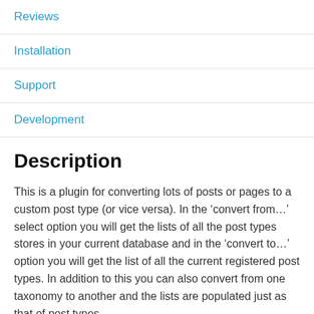Reviews
Installation
Support
Development
Description
This is a plugin for converting lots of posts or pages to a custom post type (or vice versa). In the ‘convert from…’ select option you will get the lists of all the post types stores in your current database and in the ‘convert to…’ option you will get the list of all the current registered post types. In addition to this you can also convert from one taxonomy to another and the lists are populated just as that of post types.